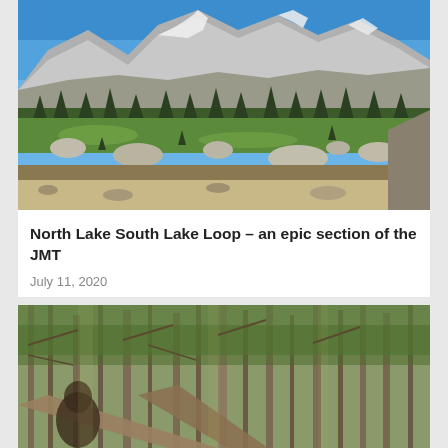[Figure (photo): Mountain landscape with alpine meadow, granite boulders, sparse conifer trees, and rocky peaks with patches of snow under blue sky]
North Lake South Lake Loop – an epic section of the JMT
July 11, 2020
[Figure (photo): Dense forest scene with fallen logs and a person partially visible among trees]